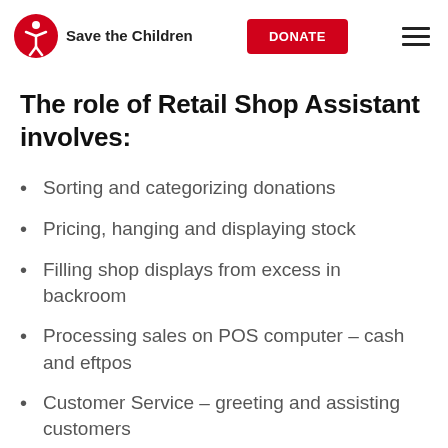Save the Children | DONATE
The role of Retail Shop Assistant involves:
Sorting and categorizing donations
Pricing, hanging and displaying stock
Filling shop displays from excess in backroom
Processing sales on POS computer – cash and eftpos
Customer Service – greeting and assisting customers